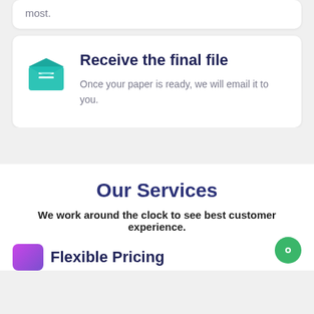most.
Receive the final file
Once your paper is ready, we will email it to you.
Our Services
We work around the clock to see best customer experience.
Flexible Pricing